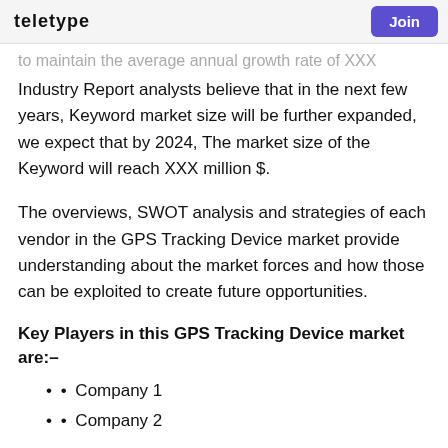TELETYPE   Join
to maintain the average annual growth rate of XXX
Industry Report analysts believe that in the next few years, Keyword market size will be further expanded, we expect that by 2024, The market size of the Keyword will reach XXX million $.
The overviews, SWOT analysis and strategies of each vendor in the GPS Tracking Device market provide understanding about the market forces and how those can be exploited to create future opportunities.
Key Players in this GPS Tracking Device market are:–
• Company 1
• Company 2